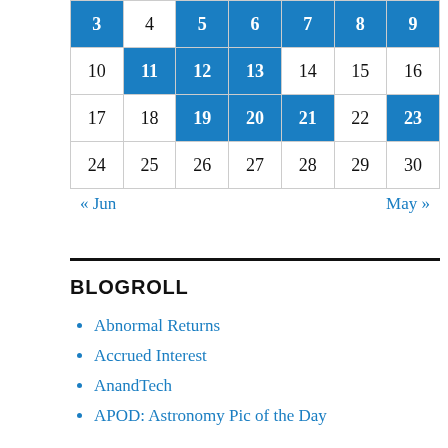| 3 | 4 | 5 | 6 | 7 | 8 | 9 |
| 10 | 11 | 12 | 13 | 14 | 15 | 16 |
| 17 | 18 | 19 | 20 | 21 | 22 | 23 |
| 24 | 25 | 26 | 27 | 28 | 29 | 30 |
« Jun    May »
BLOGROLL
Abnormal Returns
Accrued Interest
AnandTech
APOD: Astronomy Pic of the Day